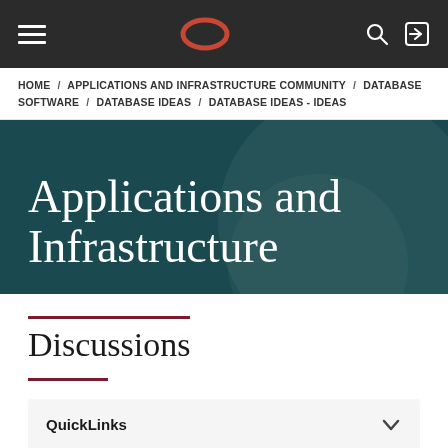Navigation bar with hamburger menu, Oracle logo, search icon, and login icon
HOME / APPLICATIONS AND INFRASTRUCTURE COMMUNITY / DATABASE SOFTWARE / DATABASE IDEAS / DATABASE IDEAS - IDEAS
Applications and Infrastructure
Discussions
QuickLinks